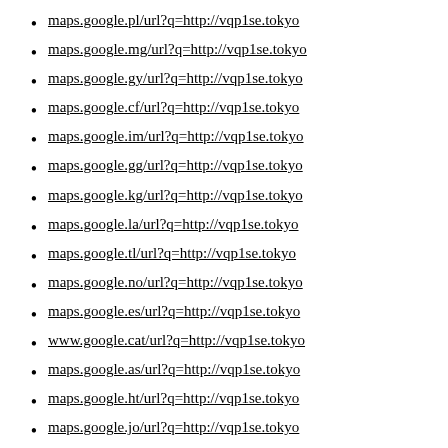maps.google.pl/url?q=http://vqp1se.tokyo
maps.google.mg/url?q=http://vqp1se.tokyo
maps.google.gy/url?q=http://vqp1se.tokyo
maps.google.cf/url?q=http://vqp1se.tokyo
maps.google.im/url?q=http://vqp1se.tokyo
maps.google.gg/url?q=http://vqp1se.tokyo
maps.google.kg/url?q=http://vqp1se.tokyo
maps.google.la/url?q=http://vqp1se.tokyo
maps.google.tl/url?q=http://vqp1se.tokyo
maps.google.no/url?q=http://vqp1se.tokyo
maps.google.es/url?q=http://vqp1se.tokyo
www.google.cat/url?q=http://vqp1se.tokyo
maps.google.as/url?q=http://vqp1se.tokyo
maps.google.ht/url?q=http://vqp1se.tokyo
maps.google.jo/url?q=http://vqp1se.tokyo
maps.google.dk/url?q=http://vqp1se.tokyo
maps.google.to/url?q=http://vqp1se.tokyo
maps.google.mk/url?q=http://vqp1se.tokyo
maps.google.ki/url?q=http://vqp1se.tokyo